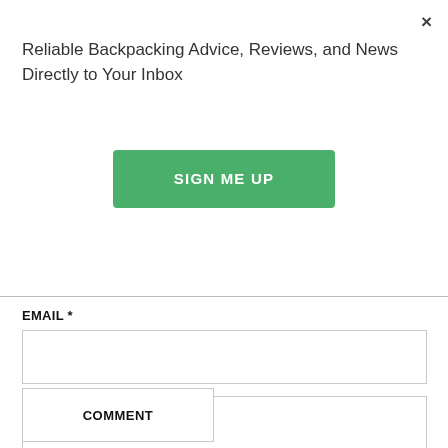×
Reliable Backpacking Advice, Reviews, and News Directly to Your Inbox
SIGN ME UP
EMAIL *
COMMENT